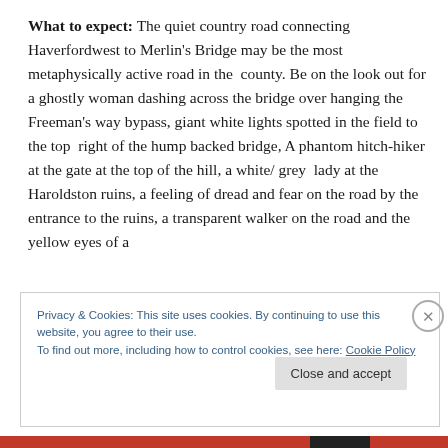What to expect: The quiet country road connecting Haverfordwest to Merlin's Bridge may be the most metaphysically active road in the  county. Be on the look out for a ghostly woman dashing across the bridge over hanging the Freeman's way bypass, giant white lights spotted in the field to the top  right of the hump backed bridge, A phantom hitch-hiker at the gate at the top of the hill, a white/ grey  lady at the Haroldston ruins, a feeling of dread and fear on the road by the entrance to the ruins, a transparent walker on the road and the yellow eyes of a
Privacy & Cookies: This site uses cookies. By continuing to use this website, you agree to their use.
To find out more, including how to control cookies, see here: Cookie Policy